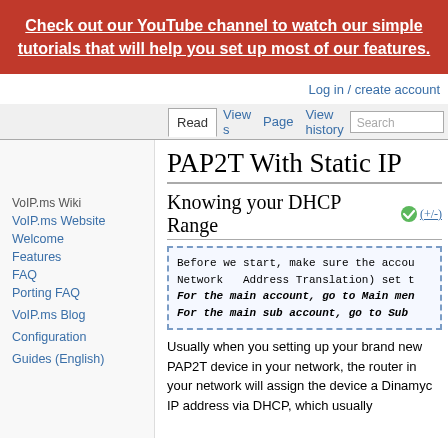[Figure (infographic): Red banner with white text linking to YouTube channel tutorials]
Log in / create account
Read  View s  Page  View history  Search
PAP2T With Static IP
Knowing your DHCP Range
Before we start, make sure the accou Network  Address Translation) set t For the main account, go to Main men For the main sub account, go to Sub
Usually when you setting up your brand new PAP2T device in your network, the router in your network will assign the device a Dinamyc IP address via DHCP, which usually
VoIP.ms Wiki
VoIP.ms Website
Welcome
Features
FAQ
Porting FAQ
VoIP.ms Blog
Configuration
Guides (English)